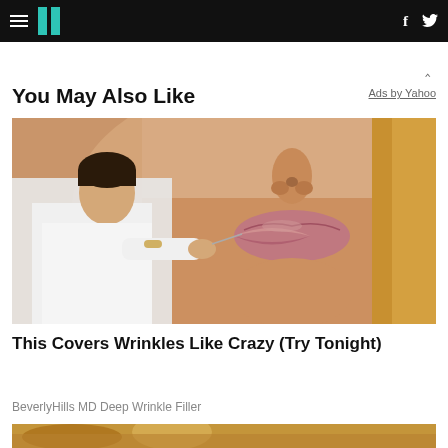HuffPost navigation with hamburger menu, logo, Facebook and Twitter icons
You May Also Like
Ads by Yahoo
[Figure (photo): Close-up photo of a woman's lips and lower face with a man in a white shirt appearing to inject or treat her lips with a needle]
This Covers Wrinkles Like Crazy (Try Tonight)
BeverlyHills MD Deep Wrinkle Filler
[Figure (photo): Partial view of a second advertisement image at bottom of page]